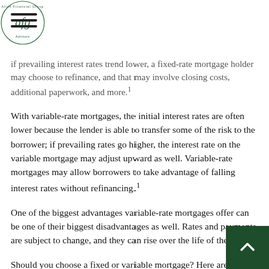afg logo (Alton Financial Group Advisors)
if prevailing interest rates trend lower, a fixed-rate mortgage holder may choose to refinance, and that may involve closing costs, additional paperwork, and more.1
With variable-rate mortgages, the initial interest rates are often lower because the lender is able to transfer some of the risk to the borrower; if prevailing rates go higher, the interest rate on the variable mortgage may adjust upward as well. Variable-rate mortgages may allow borrowers to take advantage of falling interest rates without refinancing.1
One of the biggest advantages variable-rate mortgages offer can be one of their biggest disadvantages as well. Rates and payments are subject to change, and they can rise over the life of the loan.
Should you choose a fixed or variable mortgage? Here are